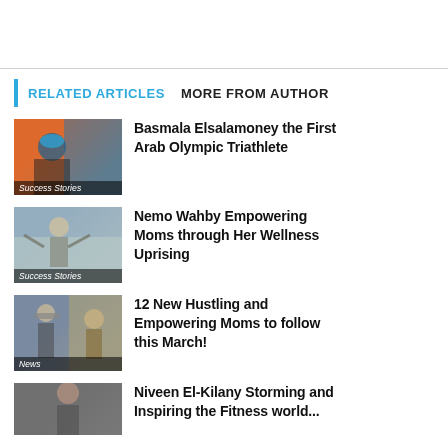RELATED ARTICLES   MORE FROM AUTHOR
[Figure (photo): Swimmer athlete wearing goggles and swim cap, Success Stories label]
Basmala Elsalamoney the First Arab Olympic Triathlete
[Figure (photo): Woman doing yoga or fitness outdoors, Success Stories label]
Nemo Wahby Empowering Moms through Her Wellness Uprising
[Figure (photo): Women exercising with weights, News label]
12 New Hustling and Empowering Moms to follow this March!
[Figure (photo): Woman partial view, fourth article image]